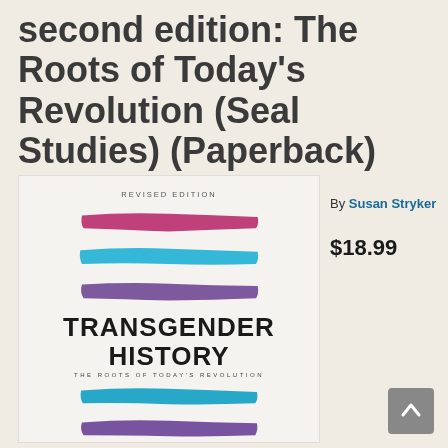second edition: The Roots of Today's Revolution (Seal Studies) (Paperback)
By Susan Stryker
$18.99
[Figure (photo): Book cover of Transgender History, Revised Edition by Susan Stryker. The cover features three painted brush strokes in pink/magenta, blue/cyan, and purple on a light background, followed by the text TRANSGENDER HISTORY in large black letters, THE ROOTS OF TODAY'S REVOLUTION in small caps, then two more brush strokes in cyan and purple.]